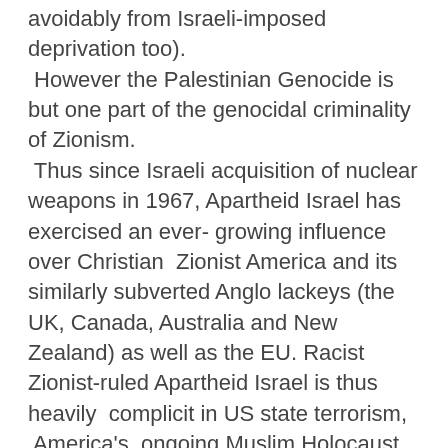avoidably from Israeli-imposed deprivation too). However the Palestinian Genocide is but one part of the genocidal criminality of Zionism. Thus since Israeli acquisition of nuclear weapons in 1967, Apartheid Israel has exercised an ever- growing influence over Christian Zionist America and its similarly subverted Anglo lackeys (the UK, Canada, Australia and New Zealand) as well as the EU. Racist Zionist-ruled Apartheid Israel is thus heavily complicit in US state terrorism, America's ongoing Muslim Holocaust and Muslim Genocide, the worsening and disproportionately US-complicit Climate Genocide and the appalling Global Avoidable Mortality Holocaust (15 million avoidable deaths from deprivation on Spaceship Earth each year with the US in charge